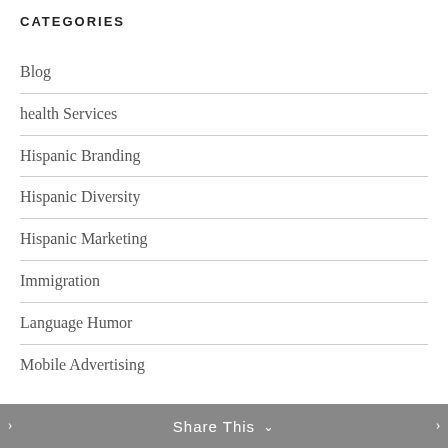CATEGORIES
Blog
health Services
Hispanic Branding
Hispanic Diversity
Hispanic Marketing
Immigration
Language Humor
Mobile Advertising
Share This ∨